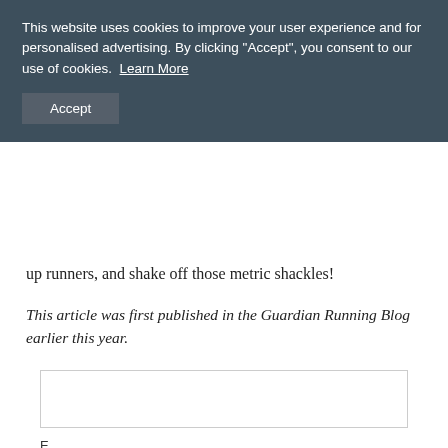This website uses cookies to improve your user experience and for personalised advertising. By clicking "Accept", you consent to our use of cookies. Learn More
Accept
up runners, and shake off those metric shackles!
This article was first published in the Guardian Running Blog earlier this year.
[Figure (other): Horizontal divider line]
[Figure (other): Advertisement box, empty rectangle with border]
E